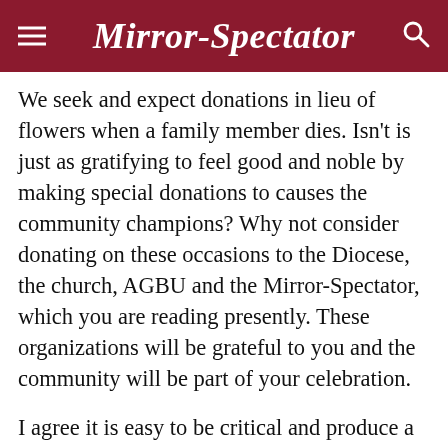Mirror-Spectator
We seek and expect donations in lieu of flowers when a family member dies. Isn't is just as gratifying to feel good and noble by making special donations to causes the community champions? Why not consider donating on these occasions to the Diocese, the church, AGBU and the Mirror-Spectator, which you are reading presently. These organizations will be grateful to you and the community will be part of your celebration.
I agree it is easy to be critical and produce a more complete list of problems the community has. But when have you heard anyone say “Let us get ready for the best years of our community yet to come?!” Who will make the commitment to that common goal and